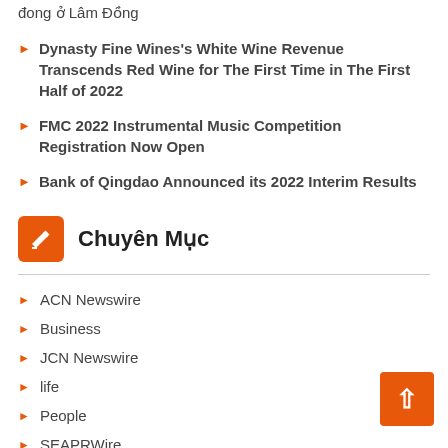đong ở Lâm Đồng
Dynasty Fine Wines's White Wine Revenue Transcends Red Wine for The First Time in The First Half of 2022
FMC 2022 Instrumental Music Competition Registration Now Open
Bank of Qingdao Announced its 2022 Interim Results
Chuyên Mục
ACN Newswire
Business
JCN Newswire
life
People
SEAPRWire
Tech
ARYEN